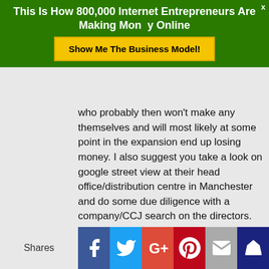This Is How 800,000 Internet Entrepreneurs Are Making Money Online
[Figure (other): Yellow button with text 'Show Me The Business Model!']
who probably then won't make any themselves and will most likely at some point in the expansion end up losing money. I also suggest you take a look on google street view at their head office/distribution centre in Manchester and do some due diligence with a company/CCJ search on the directors.
If you want to make some real money doing multi level marketing or whatever they like to call it then why not start your own independent MLM company (just a few quid to register a company) you then just need to copy Treelike
[Figure (infographic): Social sharing bar with Shares label and icons: Facebook (blue), Twitter (light blue), Google+ (red), Pinterest (dark red), Email (grey), Crown/bookmark (dark blue)]